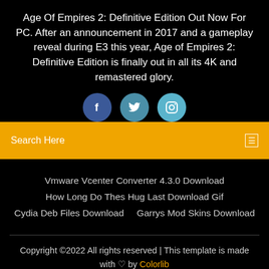Age Of Empires 2: Definitive Edition Out Now For PC. After an announcement in 2017 and a gameplay reveal during E3 this year, Age of Empires 2: Definitive Edition is finally out in all its 4K and remastered glory.
[Figure (illustration): Three social media icons: Facebook (dark blue circle with 'f'), Twitter (teal circle with bird icon), Instagram (light blue circle with camera icon)]
Search Here
Vmware Vcenter Converter 4.3.0 Download
How Long Do Thes Hug Last Download Gif
Cydia Deb Files Download    Garrys Mod Skins Download
Copyright ©2022 All rights reserved | This template is made with ♡ by Colorlib